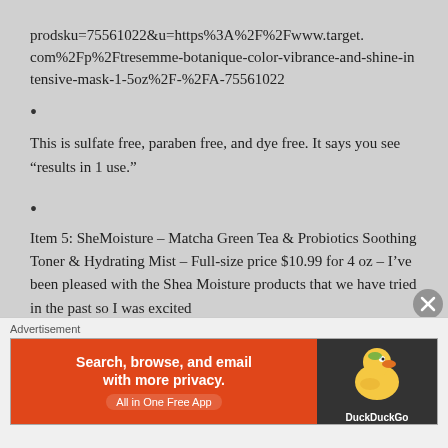prodsku=75561022&u=https%3A%2F%2Fwww.target.com%2Fp%2Ftresemme-botanique-color-vibrance-and-shine-intensive-mask-1-5oz%2F-%2FA-75561022
This is sulfate free, paraben free, and dye free. It says you see “results in 1 use.”
Item 5: SheMoisture – Matcha Green Tea & Probiotics Soothing Toner & Hydrating Mist – Full-size price $10.99 for 4 oz – I’ve been pleased with the Shea Moisture products that we have tried in the past so I was excited
[Figure (infographic): DuckDuckGo advertisement banner: orange left panel with text 'Search, browse, and email with more privacy. All in One Free App' and dark right panel with DuckDuckGo duck logo]